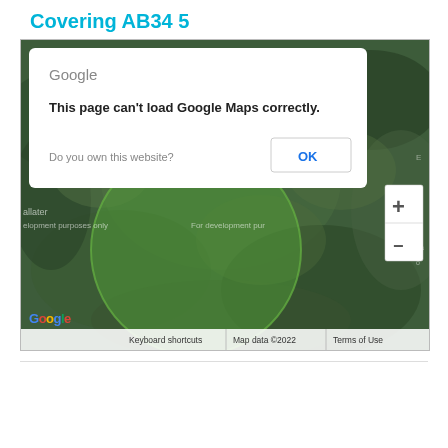Covering AB34 5
[Figure (screenshot): Google Maps screenshot showing a satellite view of a rural area with a green circle overlay. A Google Maps error dialog is displayed on top: 'This page can't load Google Maps correctly.' with an OK button. The map shows 'Ballater' and 'For development purposes only' watermarks. Map attribution shows Keyboard shortcuts, Map data ©2022, Terms of Use. Zoom controls (+/-) are visible on the right side.]